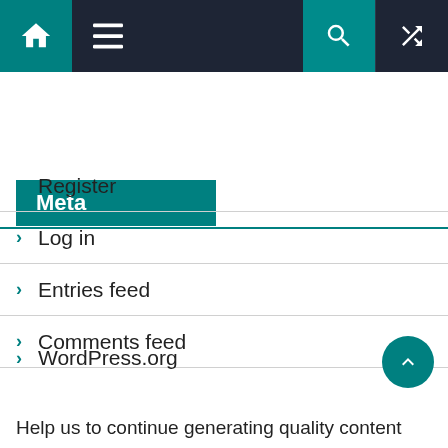Navigation bar with home, menu, search, and random icons
Meta
Register
Log in
Entries feed
Comments feed
WordPress.org
Donate
Help us to continue generating quality content and reliable website service.